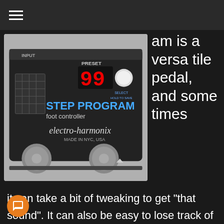[Figure (photo): Electro-Harmonix 8 Step Program foot controller pedal showing PRESET display reading 99, SELECT/HOLD TO SAVE button, and two footswitches. Made in NYC, USA.]
am is a versatile pedal, and sometimes it can take a bit of tweaking to get “that sound”. It can also be easy to lose track of said settings.  While the 8 Step does ive the elbow room to store 10 presets on board it’s all too easy to come up with